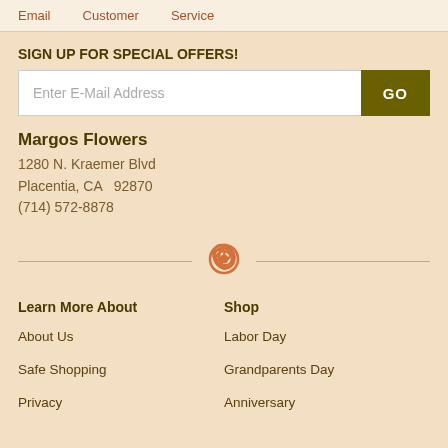Email    Customer    Service
SIGN UP FOR SPECIAL OFFERS!
[Figure (other): Email signup input field with placeholder 'Enter E-Mail Address' and a dark olive GO button]
Margos Flowers
1280 N. Kraemer Blvd
Placentia, CA  92870
(714) 572-8878
[Figure (logo): Decorative rose swirl icon divider]
Learn More About
Shop
About Us
Labor Day
Safe Shopping
Grandparents Day
Privacy
Anniversary